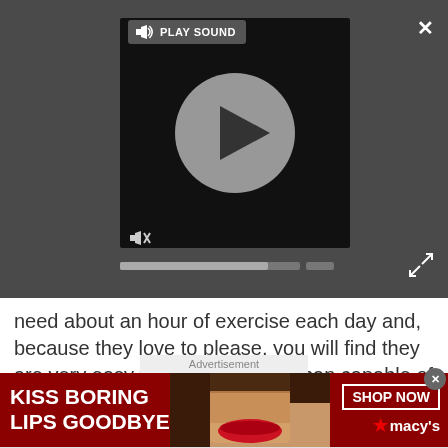[Figure (screenshot): Video player with play button, sound controls, and progress bar on dark gray background. Shows 'PLAY SOUND' tooltip, mute icon, and expand/close buttons.]
need about an hour of exercise each day and, because they love to please, you will find they are very easy to train too, more than capable of picking up on what you want from an early age. They don't require you to have a large home, tend not to shed, and are generally quiet. Cavaliers are gentle souls too. And when dogs look this cute, what's not to love?
Advertisement
[Figure (screenshot): Macy's advertisement banner with dark red background showing a model with red lipstick. Text reads 'KISS BORING LIPS GOODBYE' and 'SHOP NOW' button with Macy's star logo.]